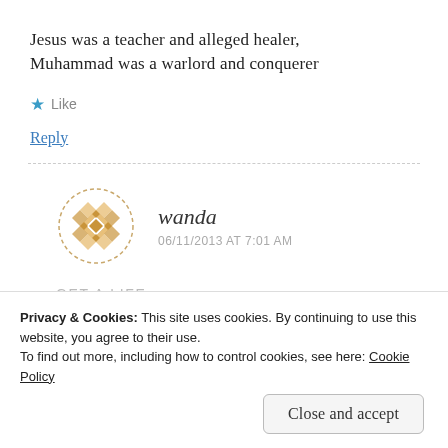Jesus was a teacher and alleged healer, Muhammad was a warlord and conquerer
★ Like
Reply
[Figure (illustration): Round avatar with geometric quilt-pattern design in gold/tan on white background with dashed circular border]
wanda
06/11/2013 AT 7:01 AM
GET A LIFE
Privacy & Cookies: This site uses cookies. By continuing to use this website, you agree to their use.
To find out more, including how to control cookies, see here: Cookie Policy
Close and accept